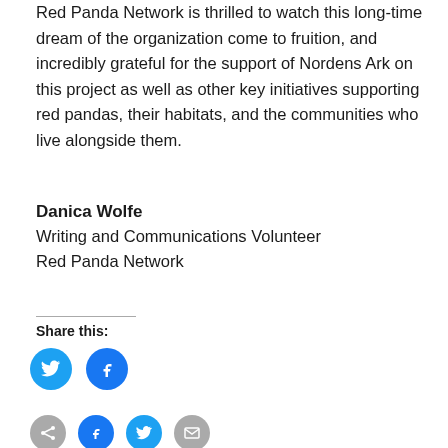Red Panda Network is thrilled to watch this long-time dream of the organization come to fruition, and incredibly grateful for the support of Nordens Ark on this project as well as other key initiatives supporting red pandas, their habitats, and the communities who live alongside them.
Danica Wolfe
Writing and Communications Volunteer
Red Panda Network
Share this:
[Figure (infographic): Twitter and Facebook share buttons (teal/blue circles with bird and f icons)]
[Figure (infographic): Row of social sharing icons: gray share icon, blue Facebook icon, teal Twitter icon, gray email icon]